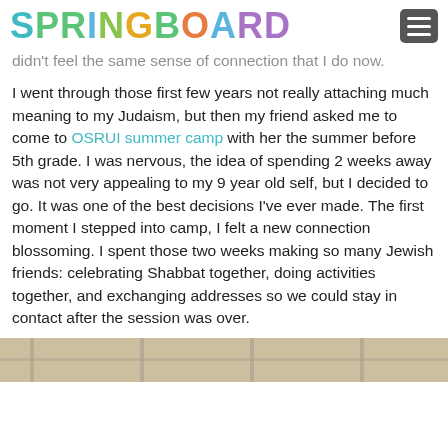SPRINGBOARD
didn't feel the same sense of connection that I do now.
I went through those first few years not really attaching much meaning to my Judaism, but then my friend asked me to come to OSRUI summer camp with her the summer before 5th grade. I was nervous, the idea of spending 2 weeks away was not very appealing to my 9 year old self, but I decided to go. It was one of the best decisions I've ever made. The first moment I stepped into camp, I felt a new connection blossoming. I spent those two weeks making so many Jewish friends: celebrating Shabbat together, doing activities together, and exchanging addresses so we could stay in contact after the session was over.
[Figure (photo): Bottom portion of a photo showing what appears to be a building interior or exterior with windows, partially visible at the bottom of the page.]